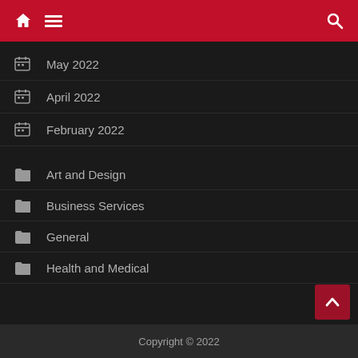Navigation header with home, menu, and search icons
May 2022
April 2022
February 2022
Art and Design
Business Services
General
Health and Medical
Copyright © 2022